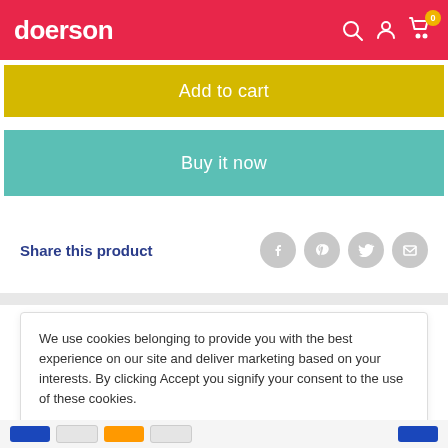doerson
Add to cart
Buy it now
Share this product
We use cookies belonging to provide you with the best experience on our site and deliver marketing based on your interests. By clicking Accept you signify your consent to the use of these cookies.
Accept